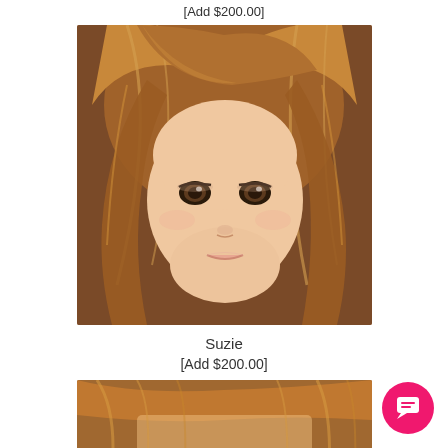[Add $200.00]
[Figure (photo): Close-up photo of a realistic doll face with brown hair and brown eyes, neutral expression]
Suzie
[Add $200.00]
[Figure (photo): Partial photo of a doll with brown/auburn hair, cropped at top of frame]